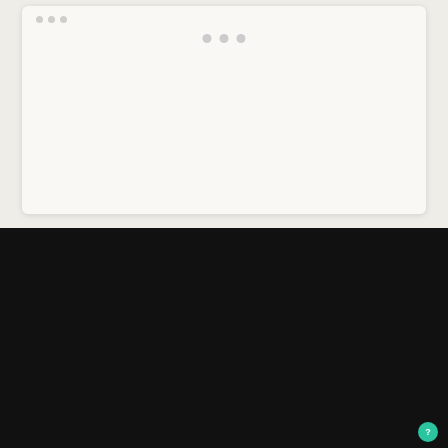[Figure (screenshot): Browser window with light/white background, showing three gray dots (navigation indicators) near the top center of the window]
[Figure (screenshot): Adobe Photoshop CC interface screenshot showing a sepia-toned family photo being edited. The photo shows three people (two adults and a child). A red selection rectangle is drawn over part of the image. The Photoshop interface shows toolbars on the left, color picker and panels on the right, layers panel at bottom right.]